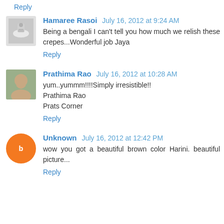Reply
Hamaree Rasoi  July 16, 2012 at 9:24 AM
Being a bengali I can't tell you how much we relish these crepes...Wonderful job Jaya
Reply
Prathima Rao  July 16, 2012 at 10:28 AM
yum..yummm!!!!Simply irresistible!!
Prathima Rao
Prats Corner
Reply
Unknown  July 16, 2012 at 12:42 PM
wow you got a beautiful brown color Harini. beautiful picture...
Reply